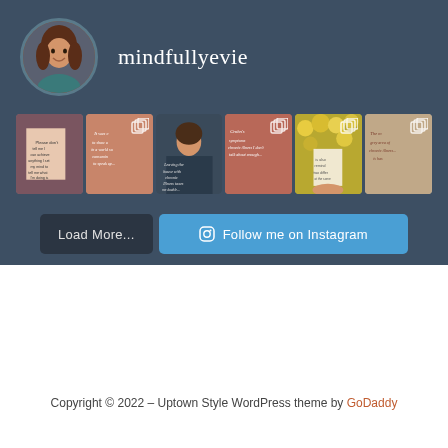[Figure (photo): Instagram profile widget with avatar, username 'mindfullyevie', a row of 6 Instagram post thumbnails, and Load More / Follow me on Instagram buttons on a dark blue-grey background]
Copyright © 2022 – Uptown Style WordPress theme by GoDaddy